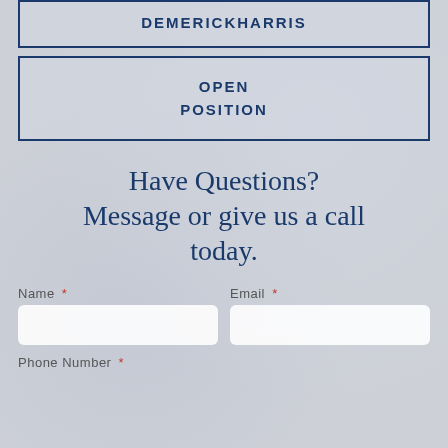DEMERICKHARRIS
OPEN POSITION
Have Questions? Message or give us a call today.
Name *
Email *
Phone Number *